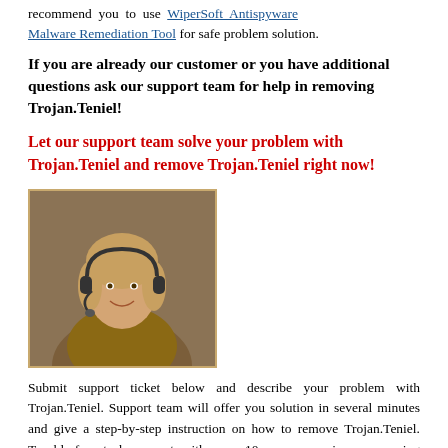recommend you to use WiperSoft Antispyware Malware Remediation Tool for safe problem solution.
If you are already our customer or you have additional questions ask our support team for help in removing Trojan.Teniel!
Let our support team solve your problem with Trojan.Teniel and remove Trojan.Teniel right now!
[Figure (photo): Customer support representative woman wearing headset, smiling]
Submit support ticket below and describe your problem with Trojan.Teniel. Support team will offer you solution in several minutes and give a step-by-step instruction on how to remove Trojan.Teniel. Trouble-free tech support with over 10 years experience removing malware.
Submit support ticket
Write a few words of how you got Trojan.Teniel with